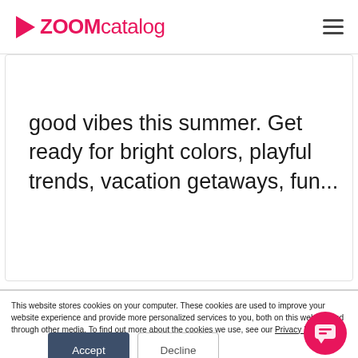ZOOMcatalog
good vibes this summer. Get ready for bright colors, playful trends, vacation getaways, fun...
This website stores cookies on your computer. These cookies are used to improve your website experience and provide more personalized services to you, both on this website and through other media. To find out more about the cookies we use, see our Privacy Policy.
We won't track your information when you visit our site. But in order to comply with your preferences, we'll have to use just one tiny cookie so that you're not asked to make this choice again.